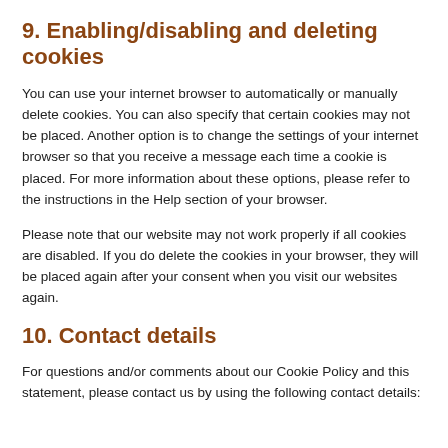9. Enabling/disabling and deleting cookies
You can use your internet browser to automatically or manually delete cookies. You can also specify that certain cookies may not be placed. Another option is to change the settings of your internet browser so that you receive a message each time a cookie is placed. For more information about these options, please refer to the instructions in the Help section of your browser.
Please note that our website may not work properly if all cookies are disabled. If you do delete the cookies in your browser, they will be placed again after your consent when you visit our websites again.
10. Contact details
For questions and/or comments about our Cookie Policy and this statement, please contact us by using the following contact details: